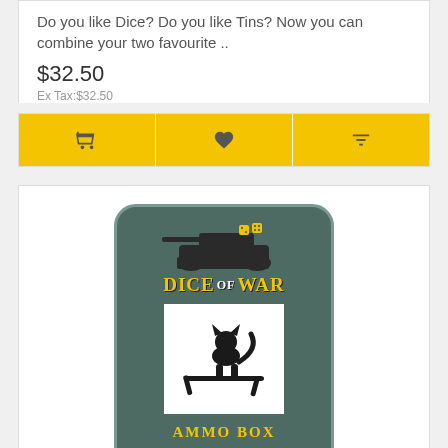Do you like Dice? Do you like Tins? Now you can combine your two favourite ..
$32.50
Ex Tax:$32.50
[Figure (other): Action bar with cart, heart, and compare icons on yellow background]
[Figure (illustration): Dice of War Ammo Box tin product image - green tin with tank silhouette, Dice of War logo, cat unit emblem, and Ammo Box label]
Fallschirmjager - Dice & Tin Set
Do you like Dice? Do you like Tins? Now you